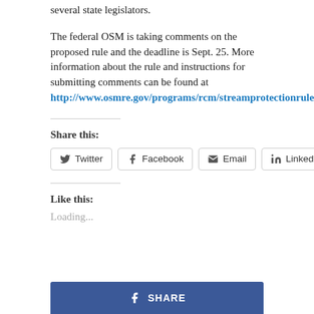several state legislators.
The federal OSM is taking comments on the proposed rule and the deadline is Sept. 25. More information about the rule and instructions for submitting comments can be found at http://www.osmre.gov/programs/rcm/streamprotectionrule.shtm.
Share this:
Twitter  Facebook  Email  LinkedIn
Like this:
Loading...
[Figure (other): Facebook SHARE button bar at bottom of page]